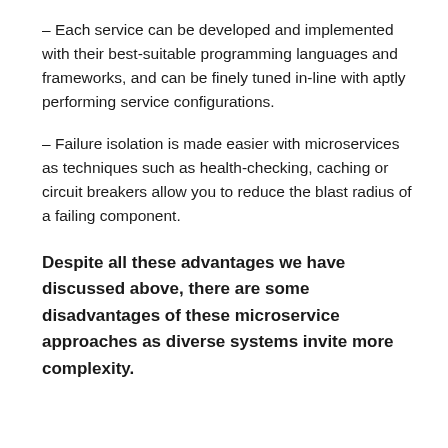– Each service can be developed and implemented with their best-suitable programming languages and frameworks, and can be finely tuned in-line with aptly performing service configurations.
– Failure isolation is made easier with microservices as techniques such as health-checking, caching or circuit breakers allow you to reduce the blast radius of a failing component.
Despite all these advantages we have discussed above, there are some disadvantages of these microservice approaches as diverse systems invite more complexity.